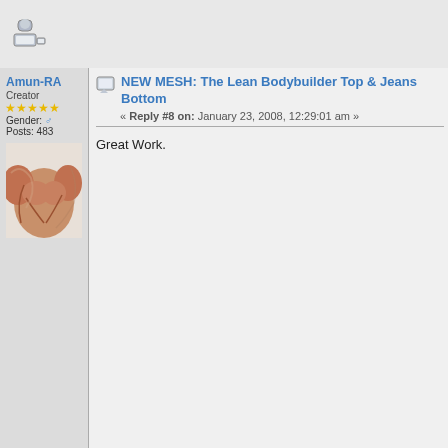[Figure (screenshot): Forum user icon in top navigation bar]
Amun-RA
Creator
★★★★★
Gender: ♂
Posts: 483
[Figure (illustration): Avatar image of a muscular torso drawing]
NEW MESH: The Lean Bodybuilder Top & Jeans Bottom
« Reply #8 on: January 23, 2008, 12:29:01 am »
Great Work.
Quote of the Year
'virtual orgasmic rape' - Kevin McCullough
aborym
Member
Gender: ♂
Posts: 1522
[Figure (photo): Avatar image showing dark scene with cross/figure silhouette]
NEW MESH: The Lean Bodybuilder Top & Jeans Bottom
« Reply #9 on: January 23, 2008, 03:12:01 am »
thanks